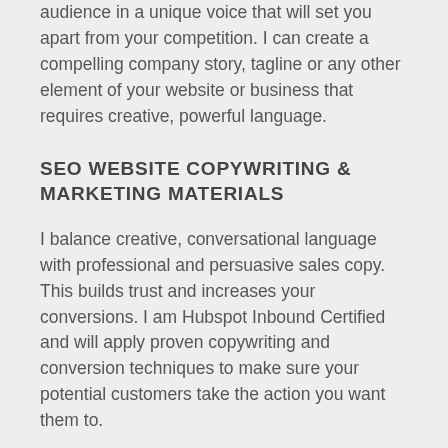audience in a unique voice that will set you apart from your competition. I can create a compelling company story, tagline or any other element of your website or business that requires creative, powerful language.
SEO WEBSITE COPYWRITING & MARKETING MATERIALS
I balance creative, conversational language with professional and persuasive sales copy. This builds trust and increases your conversions. I am Hubspot Inbound Certified and will apply proven copywriting and conversion techniques to make sure your potential customers take the action you want them to.
AMAZON PRODUCT LISTING SERVICE
As an expert Amazon copywriter, I will optimize the title, bullets and product description that will drive traffic to your Amazon listing and convert your